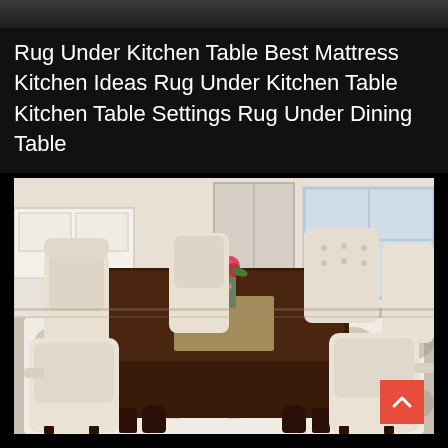Rug Under Kitchen Table Best Mattress Kitchen Ideas Rug Under Kitchen Table Kitchen Table Settings Rug Under Dining Table
[Figure (photo): A dining room scene showing a dark wood rectangular dining table surrounded by eight cream/beige upholstered chairs with rolled backs, some tufted. A floral centerpiece with pink and red flowers sits on the table. The floor features a light-colored geometric patterned area rug. In the background, white kitchen cabinets and bright windows are visible.]